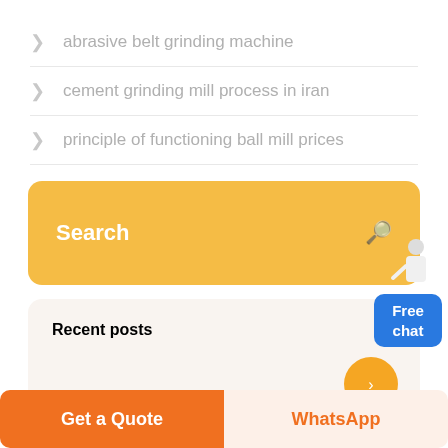abrasive belt grinding machine
cement grinding mill process in iran
principle of functioning ball mill prices
Search
Recent posts
Get a Quote
WhatsApp